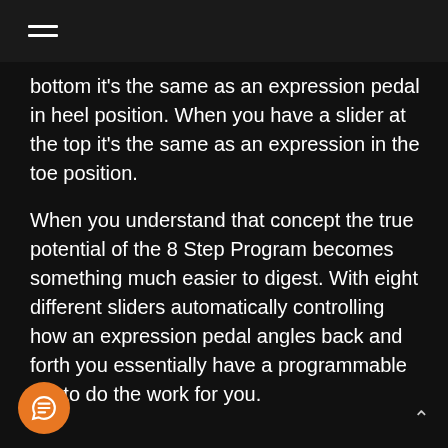☰
bottom it's the same as an expression pedal in heel position. When you have a slider at the top it's the same as an expression in the toe position.
When you understand that concept the true potential of the 8 Step Program becomes something much easier to digest. With eight different sliders automatically controlling how an expression pedal angles back and forth you essentially have a programmable bot to do the work for you.